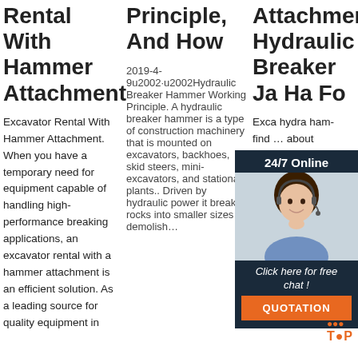Rental With Hammer Attachment
Excavator Rental With Hammer Attachment. When you have a temporary need for equipment capable of handling high-performance breaking applications, an excavator rental with a hammer attachment is an efficient solution. As a leading source for quality equipment in
Principle, And How
2019-4-9u2002·u2002Hydraulic Breaker Hammer Working Principle. A hydraulic breaker hammer is a type of construction machinery that is mounted on excavators, backhoes, skid steers, mini-excavators, and stationary plants.. Driven by hydraulic power it breaks rocks into smaller sizes or demolish…
Attachment Hydraulic Breaker Ja… Ha… Fo…
Exca… hydra… ham… find … about Excavator Attachment hydraulic breaker jack hammer for excavator hydraulic breaker, hydraulic breaker jack
[Figure (infographic): Customer service widget overlay with dark navy background. Shows '24/7 Online' header, photo of a smiling woman with headset, 'Click here for free chat!' text in italic white, and an orange 'QUOTATION' button. TOP logo in orange at bottom right.]